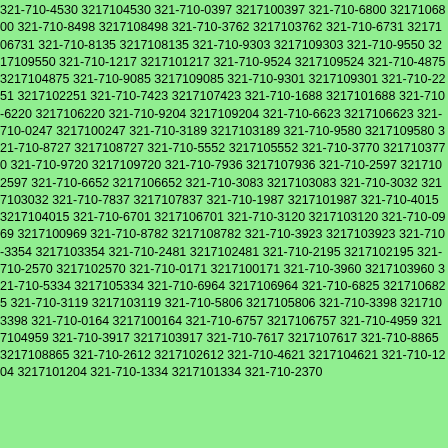321-710-4530 3217104530 321-710-0397 3217100397 321-710-6800 3217106800 321-710-8498 3217108498 321-710-3762 3217103762 321-710-6731 3217106731 321-710-8135 3217108135 321-710-9303 3217109303 321-710-9550 3217109550 321-710-1217 3217101217 321-710-9524 3217109524 321-710-4875 3217104875 321-710-9085 3217109085 321-710-9301 3217109301 321-710-2251 3217102251 321-710-7423 3217107423 321-710-1688 3217101688 321-710-6220 3217106220 321-710-9204 3217109204 321-710-6623 3217106623 321-710-0247 3217100247 321-710-3189 3217103189 321-710-9580 3217109580 321-710-8727 3217108727 321-710-5552 3217105552 321-710-3770 3217103770 321-710-9720 3217109720 321-710-7936 3217107936 321-710-2597 3217102597 321-710-6652 3217106652 321-710-3083 3217103083 321-710-3032 3217103032 321-710-7837 3217107837 321-710-1987 3217101987 321-710-4015 3217104015 321-710-6701 3217106701 321-710-3120 3217103120 321-710-0969 3217100969 321-710-8782 3217108782 321-710-3923 3217103923 321-710-3354 3217103354 321-710-2481 3217102481 321-710-2195 3217102195 321-710-2570 3217102570 321-710-0171 3217100171 321-710-3960 3217103960 321-710-5334 3217105334 321-710-6964 3217106964 321-710-6825 3217106825 321-710-3119 3217103119 321-710-5806 3217105806 321-710-3398 3217103398 321-710-0164 3217100164 321-710-6757 3217106757 321-710-4959 3217104959 321-710-3917 3217103917 321-710-7617 3217107617 321-710-8865 3217108865 321-710-2612 3217102612 321-710-4621 3217104621 321-710-1204 3217101204 321-710-1334 3217101334 321-710-2370